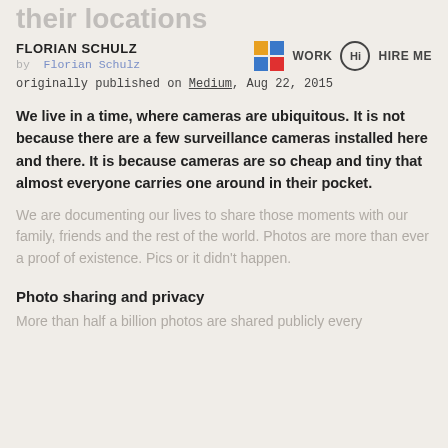their locations
FLORIAN SCHULZ | WORK | HIRE ME
by Florian Schulz
originally published on Medium, Aug 22, 2015
We live in a time, where cameras are ubiquitous. It is not because there are a few surveillance cameras installed here and there. It is because cameras are so cheap and tiny that almost everyone carries one around in their pocket.
We are documenting our lives to share those moments with our family, friends and the rest of the world. Photos are more than ever a proof of existence. Pics or it didn’t happen.
Photo sharing and privacy
More than half a billion photos are shared publicly every